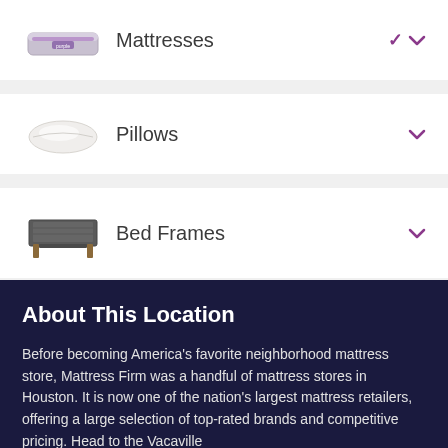Mattresses
Pillows
Bed Frames
About This Location
Before becoming America's favorite neighborhood mattress store, Mattress Firm was a handful of mattress stores in Houston. It is now one of the nation's largest mattress retailers, offering a large selection of top-rated brands and competitive pricing. Head to the Vacaville